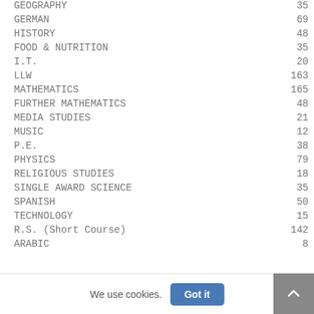| Subject | Count |
| --- | --- |
| GEOGRAPHY | 35 |
| GERMAN | 69 |
| HISTORY | 48 |
| FOOD & NUTRITION | 35 |
| I.T. | 20 |
| LLW | 163 |
| MATHEMATICS | 165 |
| FURTHER MATHEMATICS | 48 |
| MEDIA STUDIES | 21 |
| MUSIC | 12 |
| P.E. | 38 |
| PHYSICS | 79 |
| RELIGIOUS STUDIES | 18 |
| SINGLE AWARD SCIENCE | 35 |
| SPANISH | 50 |
| TECHNOLOGY | 15 |
| R.S. (Short Course) | 142 |
| ARABIC | 8 |
We use cookies.